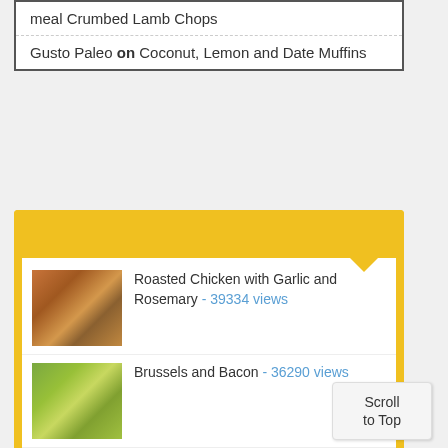meal Crumbed Lamb Chops
Gusto Paleo on Coconut, Lemon and Date Muffins
Roasted Chicken with Garlic and Rosemary - 39334 views
Brussels and Bacon - 36290 views
Cucumber Vinegar Salad - 34317 views
Paleo Lamb Curry - 29288 views
Mashed Potatoes with Onion 26998 views
Scroll to Top